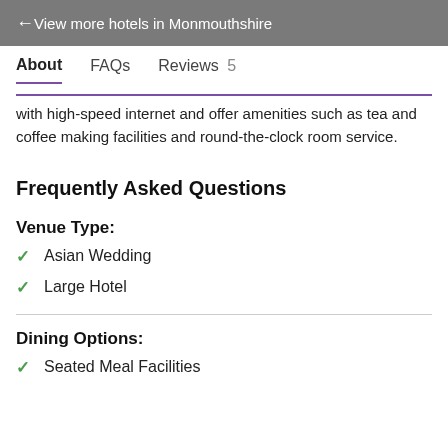← View more hotels in Monmouthshire
About   FAQs   Reviews 5
with high-speed internet and offer amenities such as tea and coffee making facilities and round-the-clock room service.
Frequently Asked Questions
Venue Type:
Asian Wedding
Large Hotel
Dining Options:
Seated Meal Facilities